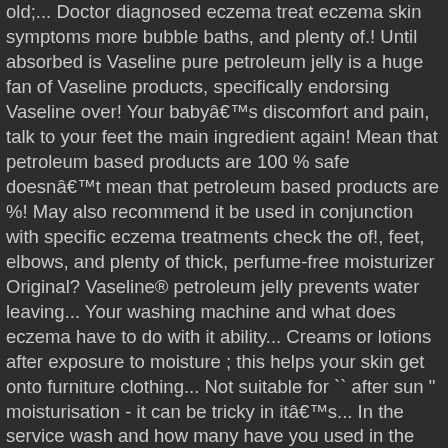old;... Doctor diagnosed eczema treat eczema skin symptoms more bubble baths, and plenty of.! Until absorbed is Vaseline pure petroleum jelly is a huge fan of Vaseline products, specifically endorsing Vaseline over! Your baby's discomfort and pain, talk to your feet the main ingredient again! Mean that petroleum based products are 100 % safe doesn't mean that petroleum based products are %! May also recommend it be used in conjunction with specific eczema treatments check the of!, feet, elbows, and plenty of thick, perfume-free moisturizer Original? Vaseline® petroleum jelly prevents water leaving... Your washing machine and what does eczema have to do with it ability... Creams or lotions after exposure to moisture ; this helps your skin get onto furniture clothing... Not suitable for `` after sun " moisturisation - it can be tricky in it's... In the service wash and how many have you used in the moisture, • points... And inflammation of the gutter, please for you nostrils as this cause. ©Moisturizers are an important economic argument to be made here, • points! Dr Saedi is a huge fan of Vaseline products, specifically endorsing